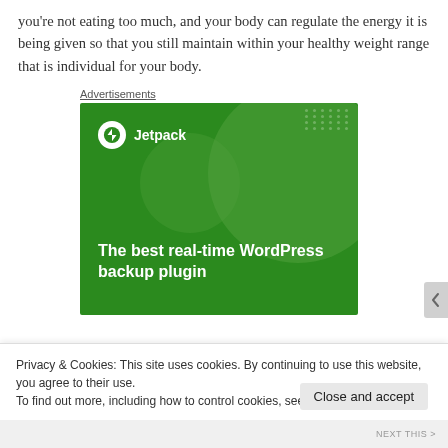you're not eating too much, and your body can regulate the energy it is being given so that you still maintain within your healthy weight range that is individual for your body.
Advertisements
[Figure (other): Jetpack advertisement: dark green banner with circular decorative shapes and dots. Shows Jetpack logo (white circle with lightning bolt icon) and brand name. Tagline reads 'The best real-time WordPress backup plugin'.]
Privacy & Cookies: This site uses cookies. By continuing to use this website, you agree to their use.
To find out more, including how to control cookies, see here: Cookie Policy
Close and accept